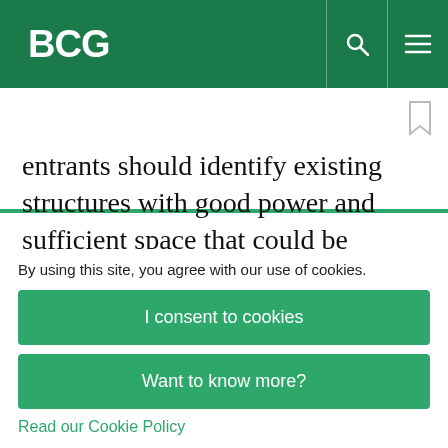BCG
entrants should identify existing structures with good power and sufficient space that could be repurposed to mitigate the need to build entirely new centers. Optimizing operating centers can drive 20% to 30% reductions in costs, lowering the capex burden
By using this site, you agree with our use of cookies.
I consent to cookies
Want to know more?
Read our Cookie Policy